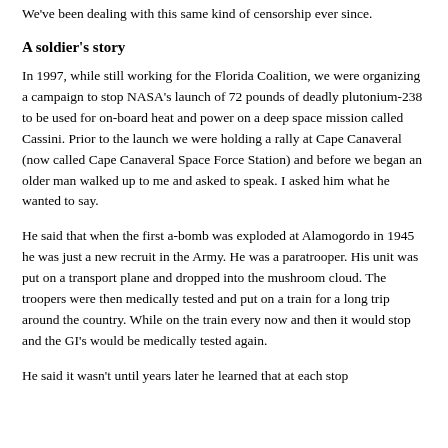We've been dealing with this same kind of censorship ever since.
A soldier's story
In 1997, while still working for the Florida Coalition, we were organizing a campaign to stop NASA's launch of 72 pounds of deadly plutonium-238 to be used for on-board heat and power on a deep space mission called Cassini. Prior to the launch we were holding a rally at Cape Canaveral (now called Cape Canaveral Space Force Station) and before we began an older man walked up to me and asked to speak. I asked him what he wanted to say.
He said that when the first a-bomb was exploded at Alamogordo in 1945 he was just a new recruit in the Army. He was a paratrooper. His unit was put on a transport plane and dropped into the mushroom cloud. The troopers were then medically tested and put on a train for a long trip around the country. While on the train every now and then it would stop and the GI's would be medically tested again.
He said it wasn't until years later he learned that at each stop